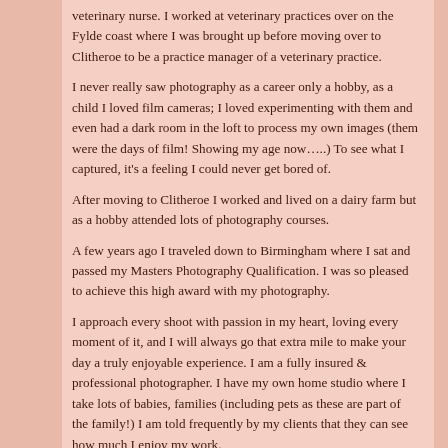veterinary nurse. I worked at veterinary practices over on the Fylde coast where I was brought up before moving over to Clitheroe to be a practice manager of a veterinary practice.
I never really saw photography as a career only a hobby, as a child I loved film cameras; I loved experimenting with them and even had a dark room in the loft to process my own images (them were the days of film! Showing my age now…..)  To see what I captured, it's a feeling I could never get bored of.
After moving to Clitheroe I worked and lived on a dairy farm but as a hobby attended lots of photography courses.
A few years ago I traveled down to Birmingham where I sat and passed my Masters Photography Qualification.  I was so pleased to achieve this high award with my photography.
I approach every shoot with passion in my heart, loving every moment of it, and I will always go that extra mile to make your day a truly enjoyable experience. I am a fully insured & professional photographer.  I have my own home studio where I take lots of babies, families (including pets as these are part of the family!)  I am told frequently by my clients that they can see how much I enjoy my work.